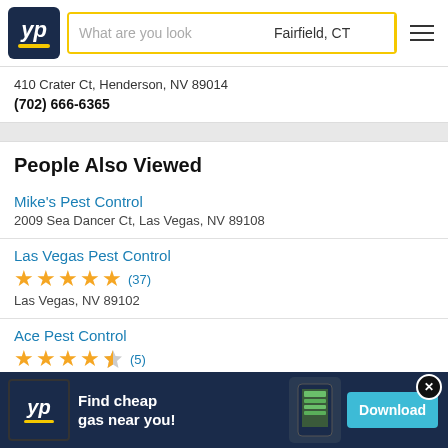YP — What are you looking for? Fairfield, CT
410 Crater Ct, Henderson, NV 89014
(702) 666-6365
People Also Viewed
Mike's Pest Control
2009 Sea Dancer Ct, Las Vegas, NV 89108
Las Vegas Pest Control
★★★★★ (37)
Las Vegas, NV 89102
Ace Pest Control
★★★★½ (5)
9360 W ...
[Figure (screenshot): Ad banner: YP logo, Find cheap gas near you!, phone image, Download button]